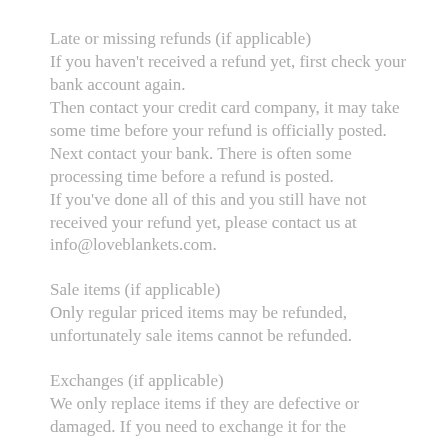Late or missing refunds (if applicable)
If you haven't received a refund yet, first check your bank account again.
Then contact your credit card company, it may take some time before your refund is officially posted.
Next contact your bank. There is often some processing time before a refund is posted.
If you've done all of this and you still have not received your refund yet, please contact us at info@loveblankets.com.
Sale items (if applicable)
Only regular priced items may be refunded, unfortunately sale items cannot be refunded.
Exchanges (if applicable)
We only replace items if they are defective or damaged. If you need to exchange it for the